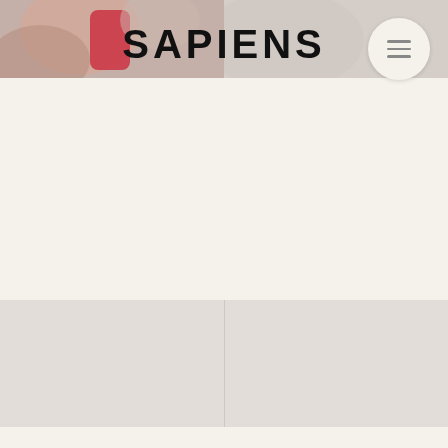[Figure (photo): Header area with a partially visible photograph showing hands holding a red object, overlaid with the SAPIENS logo in bold black text]
SAPIENS
[Figure (other): Hamburger menu button (three horizontal lines) inside a circular white/cream button in the top-right corner]
[Figure (other): Two-column gray panel section in the lower portion of the page]